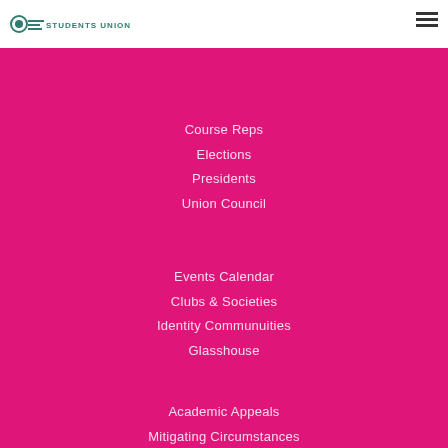[Figure (logo): Students Union logo in header]
Course Reps
Elections
Presidents
Union Council
Events Calendar
Clubs & Societies
Identity Communuities
Glasshouse
Academic Appeals
Mitigating Circumstances